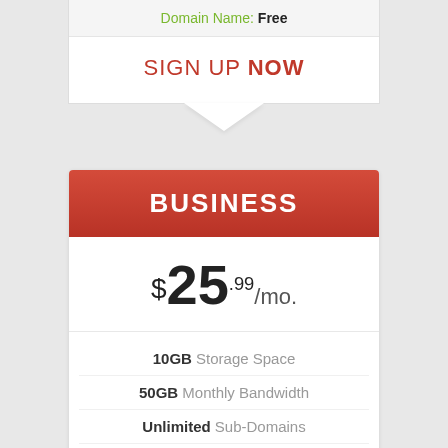Domain Name: Free
SIGN UP NOW
BUSINESS
$25.99/mo.
10GB Storage Space
50GB Monthly Bandwidth
Unlimited Sub-Domains
Unlimited E-mail Accounts
Unlimited Databases